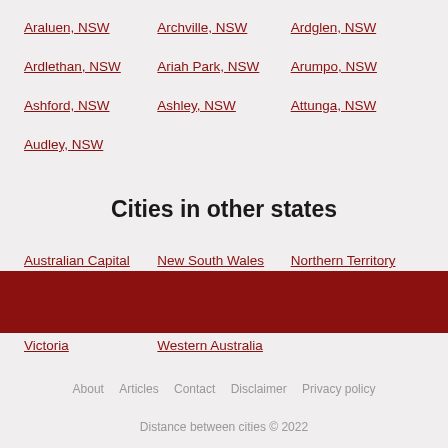Araluen, NSW
Archville, NSW
Ardglen, NSW
Ardlethan, NSW
Ariah Park, NSW
Arumpo, NSW
Ashford, NSW
Ashley, NSW
Attunga, NSW
Audley, NSW
Cities in other states
Australian Capital Territory
New South Wales
Northern Territory
Queensland
South Australia
Tasmania
Victoria
Western Australia
About  Articles  Contact  Disclaimer  Privacy policy
Distance between cities © 2022